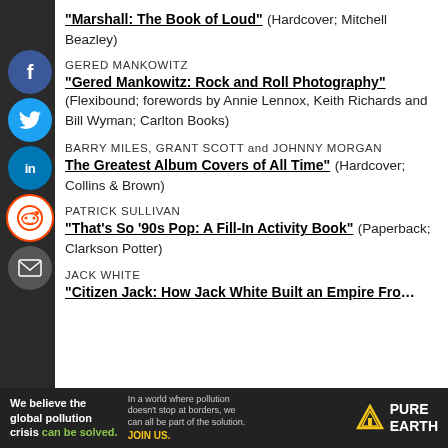"Marshall: The Book of Loud" (Hardcover; Mitchell Beazley)
GERED MANKOWITZ
"Gered Mankowitz: Rock and Roll Photography" (Flexibound; forewords by Annie Lennox, Keith Richards and Bill Wyman; Carlton Books)
BARRY MILES, GRANT SCOTT and JOHNNY MORGAN
"The Greatest Album Covers of All Time" (Hardcover; Collins & Brown)
PATRICK SULLIVAN
"That’s So ’90s Pop: A Fill-In Activity Book" (Paperback; Clarkson Potter)
JACK WHITE
"Citizen Jack: How Jack White Built an Empire Fro…